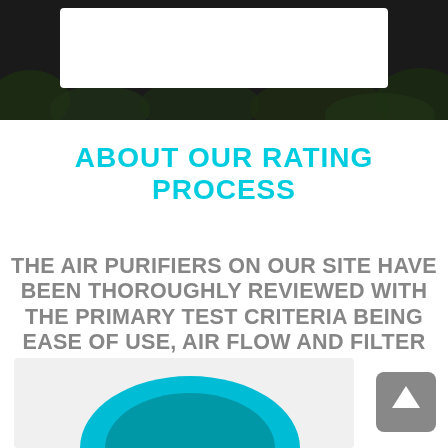[Figure (photo): Top banner image showing a white box/logo area against a dark foliage background]
ABOUT OUR RATING PROCESS
THE AIR PURIFIERS ON OUR SITE HAVE BEEN THOROUGHLY REVIEWED WITH THE PRIMARY TEST CRITERIA BEING EASE OF USE, AIR FLOW AND FILTER EFFICIENCY.
[Figure (illustration): Partial view of a teal/cyan circular graphic or logo at the bottom of the page, with a grey back-to-top button in the bottom right corner]